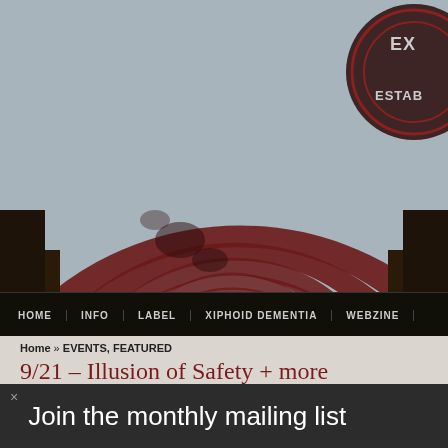[Figure (screenshot): Website header with dark red concentric arc/spiral logo on gray background, with a circular badge in top right corner showing partial text 'EX' and 'ESTAB']
HOME   INFO   LABEL   XIPHOID DEMENTIA   WEBZINE
Home » EVENTS, FEATURED
9/21 – Illusion of Safety + more
24 AUGUST 2010   XDEMENTIA   ONE COMMENT
× Join the monthly mailing list